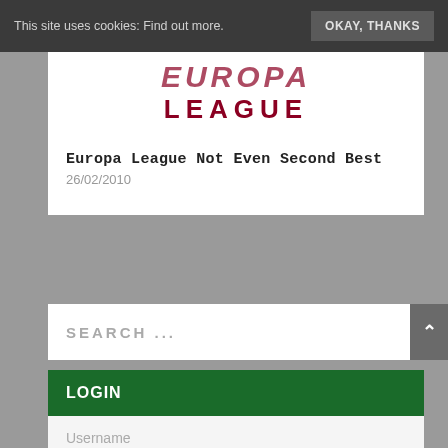This site uses cookies: Find out more.  OKAY, THANKS
[Figure (logo): Europa League logo - dark red bold text reading EUROPA LEAGUE]
Europa League Not Even Second Best
26/02/2010
SEARCH ...
LOGIN
Username